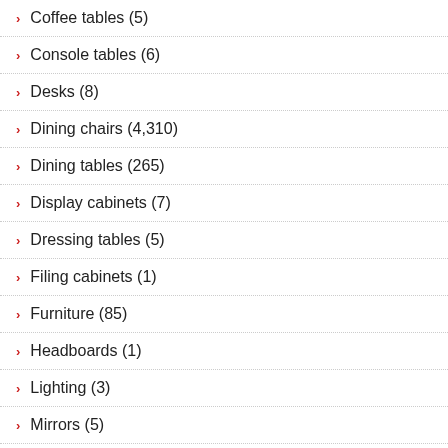Coffee tables (5)
Console tables (6)
Desks (8)
Dining chairs (4,310)
Dining tables (265)
Display cabinets (7)
Dressing tables (5)
Filing cabinets (1)
Furniture (85)
Headboards (1)
Lighting (3)
Mirrors (5)